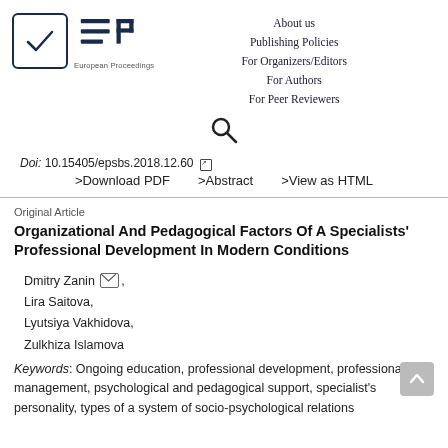European Proceedings | About us | Publishing Policies | For Organizers/Editors | For Authors | For Peer Reviewers
[Figure (logo): European Proceedings logo with checkmark in box and EP letters]
Doi: 10.15405/epsbs.2018.12.60
>Download PDF   >Abstract   >View as HTML
Original Article
Organizational And Pedagogical Factors Of A Specialists' Professional Development In Modern Conditions
Dmitry Zanin [mail icon],
Lira Saitova,
Lyutsiya Vakhidova,
Zulkhiza Islamova
Keywords: Ongoing education, professional development, professional self-management, psychological and pedagogical support, specialist's personality, types of a system of socio-psychological relations